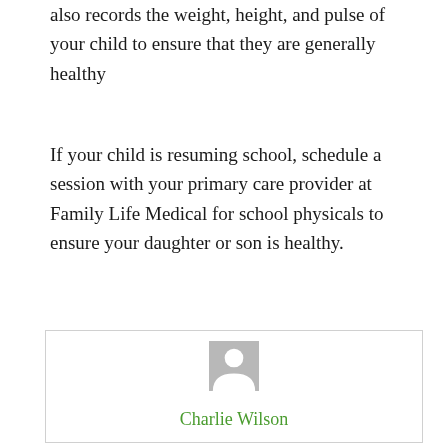also records the weight, height, and pulse of your child to ensure that they are generally healthy
If your child is resuming school, schedule a session with your primary care provider at Family Life Medical for school physicals to ensure your daughter or son is healthy.
[Figure (illustration): Generic user avatar placeholder image (grey silhouette of a person on a grey background) inside a bordered card, with the name Charlie Wilson in green below]